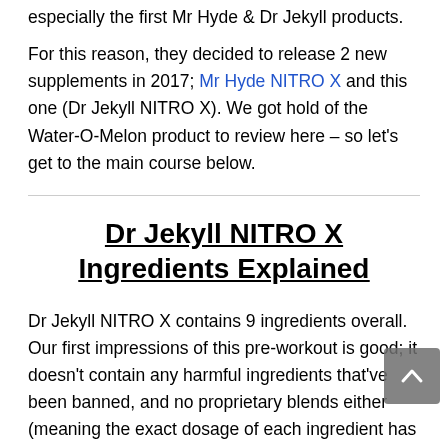especially the first Mr Hyde & Dr Jekyll products.
For this reason, they decided to release 2 new supplements in 2017; Mr Hyde NITRO X and this one (Dr Jekyll NITRO X). We got hold of the Water-O-Melon product to review here – so let's get to the main course below.
Dr Jekyll NITRO X Ingredients Explained
Dr Jekyll NITRO X contains 9 ingredients overall. Our first impressions of this pre-workout is good; it doesn't contain any harmful ingredients that've been banned, and no proprietary blends either (meaning the exact dosage of each ingredient has been listed).